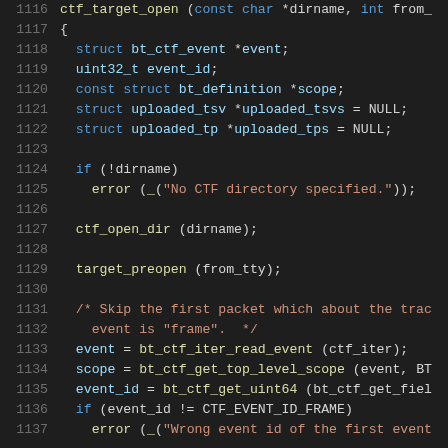[Figure (screenshot): Source code listing showing lines 1116-1137 of a C program implementing ctf_target_open function, with syntax highlighting on a dark background. Line numbers in gray, keywords in blue, strings in orange, comments in orange/red, variables in light blue.]